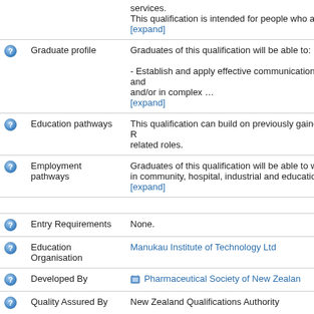services.
This qualification is intended for people who are a
[expand]
Graduate profile
Graduates of this qualification will be able to:
- Establish and apply effective communication and and/or in complex …
[expand]
Education pathways
This qualification can build on previously gained R related roles.
Employment pathways
Graduates of this qualification will be able to wo in community, hospital, industrial and educationa
[expand]
Entry Requirements
None.
Education Organisation
Manukau Institute of Technology Ltd
Developed By
Pharmaceutical Society of New Zealan
Quality Assured By
New Zealand Qualifications Authority
Number
4410
Status
Current